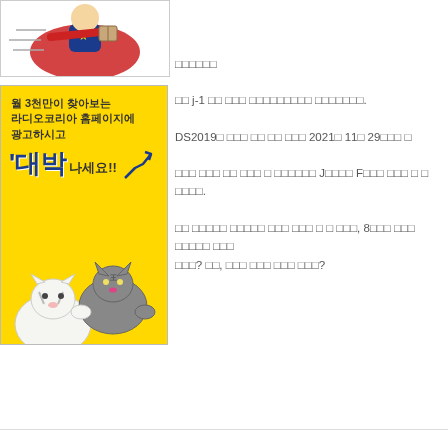[Figure (illustration): Cartoon superhero figure flying with cape]
[Figure (illustration): Yellow advertisement banner: 월 3천만이 찾아보는 라디오코리아 홈페이지에 광고하시고 대박나세요!! with cartoon tiger animals]
□□□□□□
□□ j-1 □□ □□□ □□□□□□□□□ □□□□□□□.
DS2019□ □□□ □□ □□ □□□ 2021□ 11□ 29□□□ □
□□□ □□□ □□ □□□ □ □□□□□□ J□□□□ F□□□ □□□ □ □ □□□□.
□□ □□□□□ □□□□□ □□□ □□□ □ □ □□□, 8□□□ □□□ □□□□□ □□□ □□□? □□, □□□ □□□ □□□ □□□?